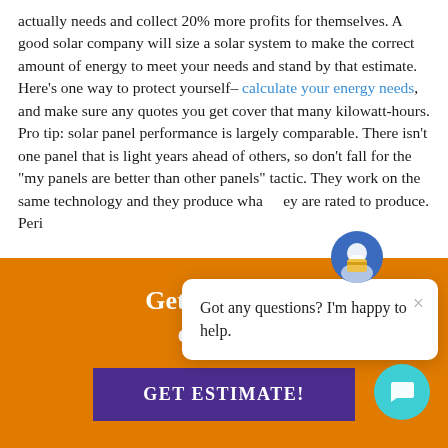actually needs and collect 20% more profits for themselves. A good solar company will size a solar system to make the correct amount of energy to meet your needs and stand by that estimate. Here's one way to protect yourself– calculate your energy needs, and make sure any quotes you get cover that many kilowatt-hours. Pro tip: solar panel performance is largely comparable. There isn't one panel that is light years ahead of others, so don't fall for the "my panels are better than other panels" tactic. They work on the same technology and they produce what they are rated to produce. Perio
Get an instant estimate
GET ESTIMATE!
[Figure (screenshot): Chat popup widget with avatar icon, close button (×), and text 'Got any questions? I'm happy to help.' A teal circular chat button in the bottom-right corner.]